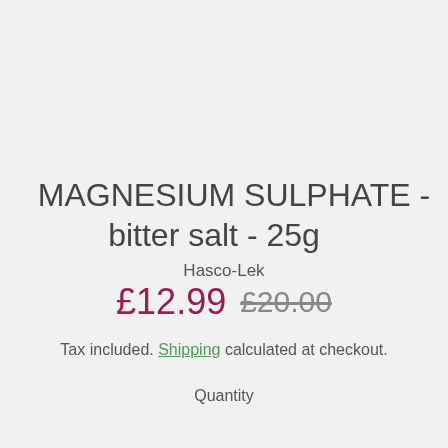MAGNESIUM SULPHATE - bitter salt - 25g
Hasco-Lek
£12.99  £20.00
Tax included. Shipping calculated at checkout.
Quantity